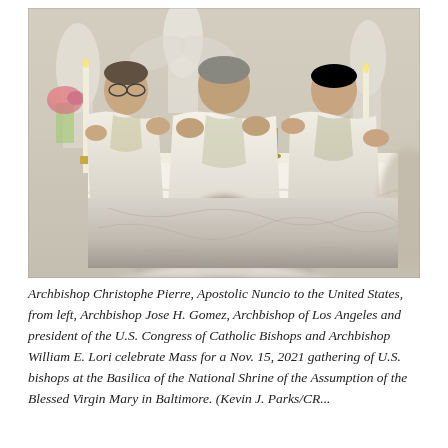[Figure (photo): Three Catholic archbishops in white vestments celebrating Mass at an ornate altar in a church. A congregation member is visible in the foreground from behind. Marble altar, candlesticks, chalice, and religious statues are visible in the background.]
Archbishop Christophe Pierre, Apostolic Nuncio to the United States, from left, Archbishop Jose H. Gomez, Archbishop of Los Angeles and president of the U.S. Congress of Catholic Bishops and Archbishop William E. Lori celebrate Mass for a Nov. 15, 2021 gathering of U.S. bishops at the Basilica of the National Shrine of the Assumption of the Blessed Virgin Mary in Baltimore. (Kevin J. Parks/CR...